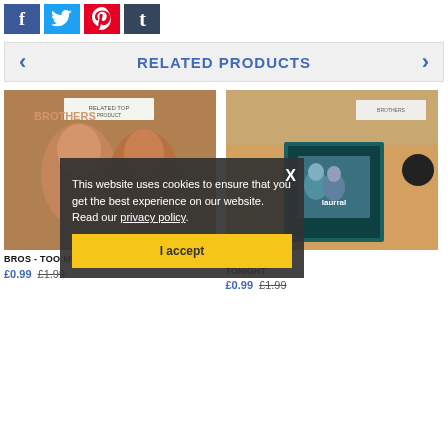[Figure (other): Social sharing icons: Facebook (blue), Twitter (light blue), Pinterest (red), Tumblr (dark blue)]
RELATED PRODUCTS
[Figure (photo): Product photo 1: BROS - TOO MUCH vinyl record cover showing two male faces]
BROS - TOO MUCH
£0.99  £1.99
[Figure (photo): Product photo 2: Another vinyl record (AND ME TONIGHT) on a cutting mat, teal/blue album cover]
AND ME TONIGHT
£0.99  £1.99
This website uses cookies to ensure that you get the best experience on our website. Read our privacy policy.
I accept